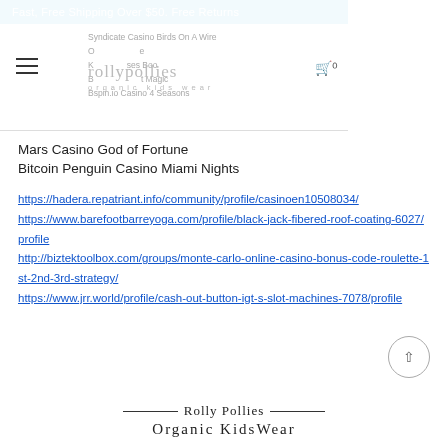Fast, Free Shipping Over $50. Free Returns
[Figure (logo): Rolly Pollies organic kids wear logo with navigation overlay showing links: Syndicate Casino Birds On A Wire, Online Games, Kids Shoes Book, Bspin.io Casino 4 Seasons. Hamburger menu icon on left, cart icon on right.]
Mars Casino God of Fortune
Bitcoin Penguin Casino Miami Nights
https://hadera.repatriant.info/community/profile/casinoen10508034/
https://www.barefootbarreyoga.com/profile/black-jack-fibered-roof-coating-6027/profile
http://biztektoolbox.com/groups/monte-carlo-online-casino-bonus-code-roulette-1st-2nd-3rd-strategy/
https://www.jrr.world/profile/cash-out-button-igt-s-slot-machines-7078/profile
Rolly Pollies — Organic KidsWear